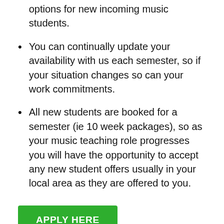options for new incoming music students.
You can continually update your availability with us each semester, so if your situation changes so can your work commitments.
All new students are booked for a semester (ie 10 week packages), so as your music teaching role progresses you will have the opportunity to accept any new student offers usually in your local area as they are offered to you.
APPLY HERE
Have full control over your music teaching job location & travel